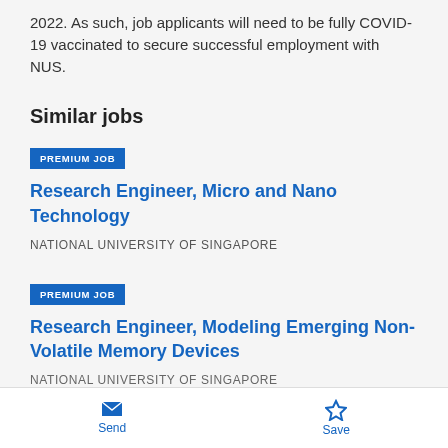2022. As such, job applicants will need to be fully COVID-19 vaccinated to secure successful employment with NUS.
Similar jobs
PREMIUM JOB
Research Engineer, Micro and Nano Technology
NATIONAL UNIVERSITY OF SINGAPORE
PREMIUM JOB
Research Engineer, Modeling Emerging Non-Volatile Memory Devices
NATIONAL UNIVERSITY OF SINGAPORE
Send  Save